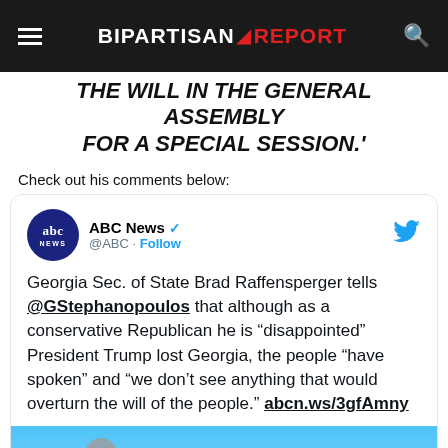BIPARTISAN REPORT
THE WILL IN THE GENERAL ASSEMBLY FOR A SPECIAL SESSION.'
Check out his comments below:
[Figure (screenshot): Embedded tweet from ABC News (@ABC) with verified badge and Follow link. Tweet text: Georgia Sec. of State Brad Raffensperger tells @GStephanopoulos that although as a conservative Republican he is "disappointed" President Trump lost Georgia, the people "have spoken" and "we don't see anything that would overturn the will of the people." abcn.ws/3gfAmny. Includes a Watch on Twitter button over a video thumbnail.]